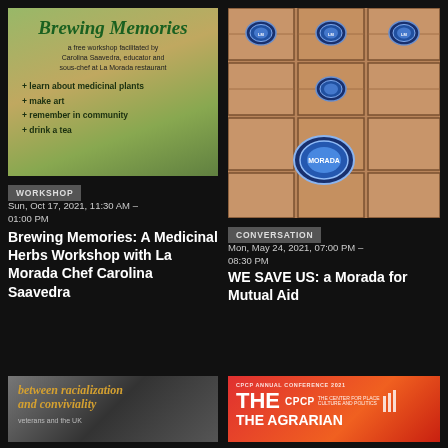[Figure (illustration): Brewing Memories workshop flyer with green title text, hands handling herbs in background, listing workshop activities]
[Figure (photo): Cardboard takeout boxes with blue circular La Morada stickers arranged in rows]
WORKSHOP
CONVERSATION
Sun, Oct 17, 2021, 11:30 AM – 01:00 PM
Mon, May 24, 2021, 07:00 PM – 08:30 PM
Brewing Memories: A Medicinal Herbs Workshop with La Morada Chef Carolina Saavedra
WE SAVE US: a Morada for Mutual Aid
[Figure (photo): Black and white photo with text overlay reading 'between racialization and conviviality' and 'veterans and the UK']
[Figure (illustration): CPCP Annual Conference 2021 flyer with red/orange background, THE CPCP logo and text beginning THE AGRARIAN]